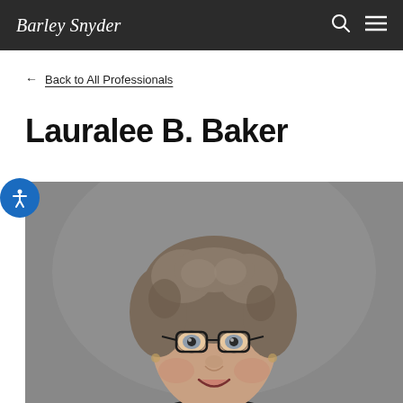Barley Snyder
← Back to All Professionals
Lauralee B. Baker
[Figure (photo): Professional headshot of Lauralee B. Baker, a woman with short curly gray-brown hair wearing glasses and a dark outfit, smiling, photographed against a gray background.]